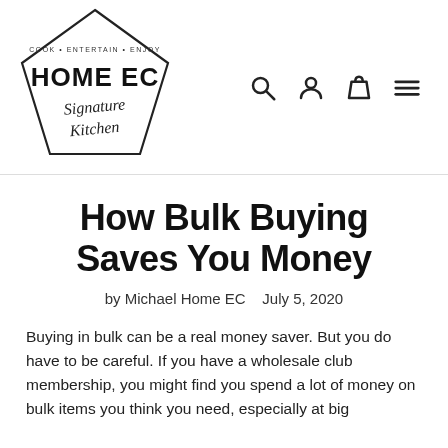[Figure (logo): Home EC Signature Kitchen logo — a pentagon shape with 'COOK • ENTERTAIN • ENJOY' text at top, 'HOME EC' in large sans-serif letters in the middle, and 'Signature Kitchen' in script font below]
How Bulk Buying Saves You Money
by Michael Home EC   July 5, 2020
Buying in bulk can be a real money saver. But you do have to be careful. If you have a wholesale club membership, you might find you spend a lot of money on bulk items you think you need, especially at big